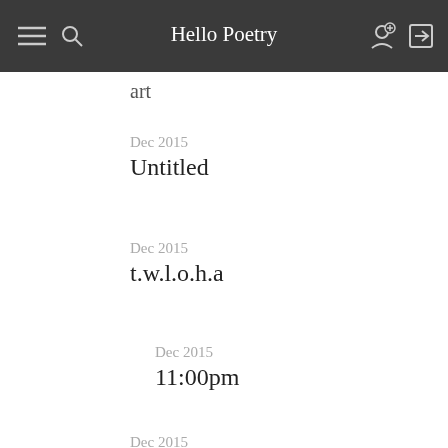Hello Poetry
art
Dec 2015
Untitled
Dec 2015
t.w.l.o.h.a
Dec 2015
11:00pm
Dec 2015